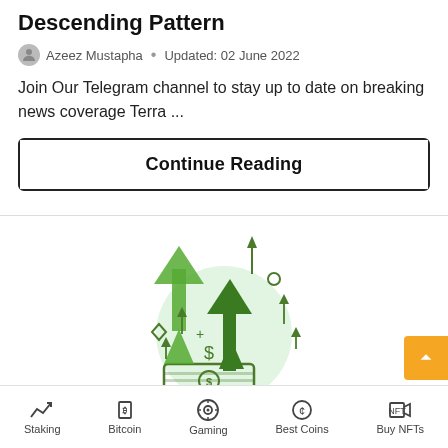Descending Pattern
Azeez Mustapha • Updated: 02 June 2022
Join Our Telegram channel to stay up to date on breaking news coverage Terra ...
Continue Reading
[Figure (illustration): Green upward arrows and dollar bill illustration representing earning interest on crypto]
Earn Interest on Crypto
Staking | Bitcoin | Gaming | Best Coins | Buy NFTs